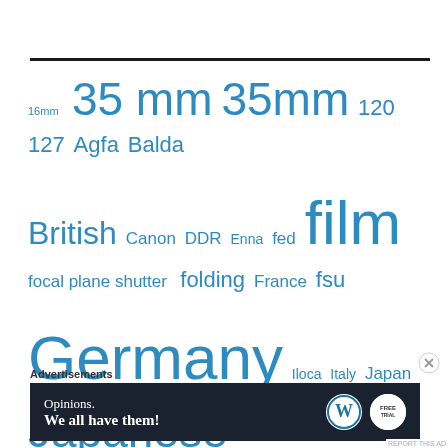[Figure (infographic): Tag cloud with photography-related terms in varying blue font sizes indicating frequency/weight. Terms include: 16mm, 35 mm, 35mm, 120, 127, Agfa, Balda, British, Canon, DDR, Enna, fed, film, focal plane shutter, folding, France, fsu, Germany, Iloca, Italy, Japan, Japanese, Japanese SLR film 35mm, Kiev, k mount, kodak, leaf shutter, ltm, m39, m42, medium format, Nikon, Pentacon, pentax]
Advertisements
[Figure (infographic): Advertisement banner with dark navy background. Text reads: Opinions. We all have them! with WordPress logo and another circular logo on the right.]